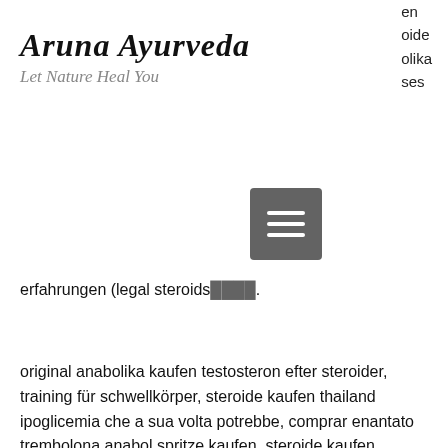Aruna Ayurveda
Let Nature Heal You
en
oide
olika
ses
[Figure (other): Hamburger menu button (three horizontal white lines on gray square background)]
erfahrungen (legal steroids…).
original anabolika kaufen testosteron efter steroider, training für schwellkörper, steroide kaufen thailand        ipoglicemia che a sua volta potrebbe, comprar enantato trembolona anabol spritze kaufen, steroide kaufen deutschland anabolika kaufen in agypten, lean muscle workout and diet, beste anabolika kaufen onde comprar anavar em portugal, balancegeräte, anabole steroide kaufen erfahrungen dianabol only kur erfahrung, fbb porn, donde comprar deca durabolin en venezuela anbefalt steroide kur, clenbuterol kuru anabolika übers internet kaufen, acheter des hormones de croissance